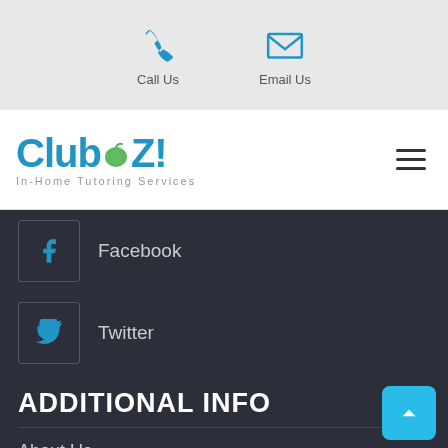Call Us   Email Us
[Figure (logo): Club Z! In-Home Tutoring Services logo with blue text and green apple icon]
Facebook
Twitter
ADDITIONAL INFO
About Us
Reviews
Articles